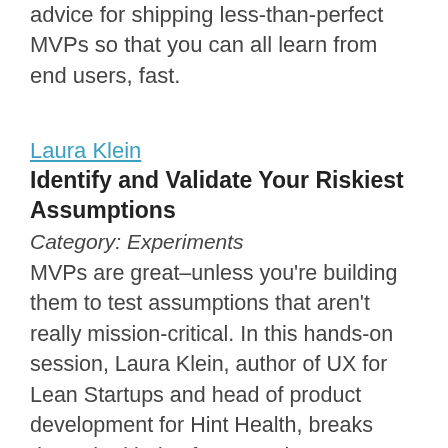advice for shipping less-than-perfect MVPs so that you can all learn from end users, fast.
Laura Klein
Identify and Validate Your Riskiest Assumptions
Category: Experiments
MVPs are great–unless you're building them to test assumptions that aren't really mission-critical. In this hands-on session, Laura Klein, author of UX for Lean Startups and head of product development for Hint Health, breaks down the kinds of assumptions you should look for and a process for developing hypotheses that reveal your true barriers to growth.